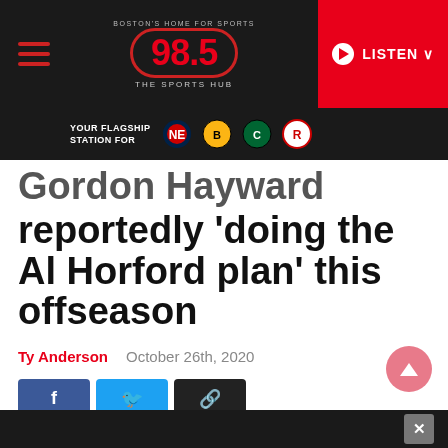98.5 The Sports Hub – Boston's Home for Sports
[Figure (screenshot): 98.5 The Sports Hub logo with red circular border, Boston's home for sports tagline]
YOUR FLAGSHIP STATION FOR
Gordon Hayward reportedly 'doing the Al Horford plan' this offseason
Ty Anderson   October 26th, 2020